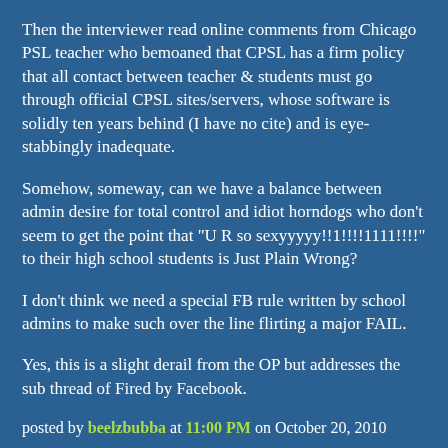Then the interviewer read online comments from Chicago PSL teacher who bemoaned that CPSL has a firm policy that all contact between teacher & students must go through official CPSL sites/servers, whose software is solidly ten years behind (I have no cite) and is eye-stabbingly inadequate.
Somehow, someway, can we have a balance between admin desire for total control and idiot horndogs who don't seem to get the point that "U R so sexyyyyy!!1!!!!1111!!!!" to their high school students is Just Plain Wrong?
I don't think we need a special FB rule written by school admins to make such over the line flirting a major FAIL.
Yes, this is a slight derail from the OP but addresses the sub thread of Fired by Facebook.
posted by beelzbubba at 11:00 PM on October 20, 2010